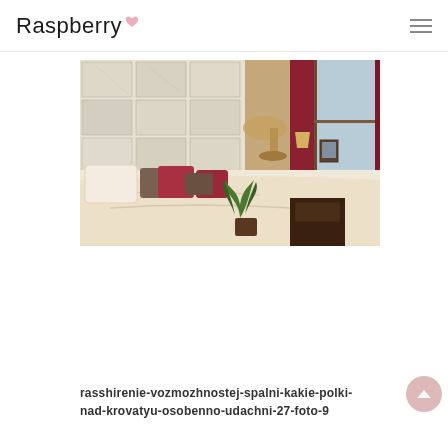Raspberry
[Figure (photo): A rustic bedroom with a white distressed wood panel headboard, bed with cream/white bedding and red, brown pillows, a window with red curtains on the right, a lamp, nightstand, and a green houseplant in the foreground.]
rasshirenie-vozmozhnostej-spalni-kakie-polki-nad-krovatyu-osobenno-udachni-27-foto-9